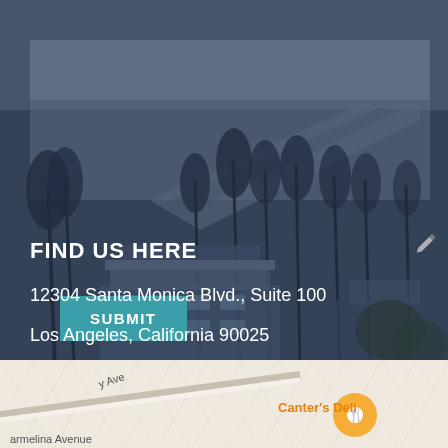[Figure (photo): Black and white aerial/elevated photograph of Los Angeles area showing palm trees, highway, beach, and modern buildings in blue-grey tone]
SUBMIT
FIND US HERE
12304 Santa Monica Blvd., Suite 100
Los Angeles, California 90025
(310) 442-0118
[Figure (map): Street map showing area near Canter's Deli with street labels including 'y Ave' and 'armelina Avenue']